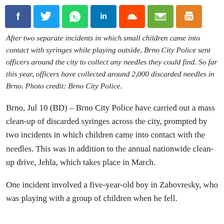[Figure (other): Social media share bar with buttons for Facebook, Twitter, WhatsApp, LinkedIn, Reddit, Email, and Print]
After two separate incidents in which small children came into contact with syringes while playing outside, Brno City Police sent officers around the city to collect any needles they could find. So far this year, officers have collected around 2,000 discarded needles in Brno. Photo credit: Brno City Police.
Brno, Jul 10 (BD) – Brno City Police have carried out a mass clean-up of discarded syringes across the city, prompted by two incidents in which children came into contact with the needles. This was in addition to the annual nationwide clean-up drive, Jehla, which takes place in March.
One incident involved a five-year-old boy in Zabovresky, who was playing with a group of children when he fell.